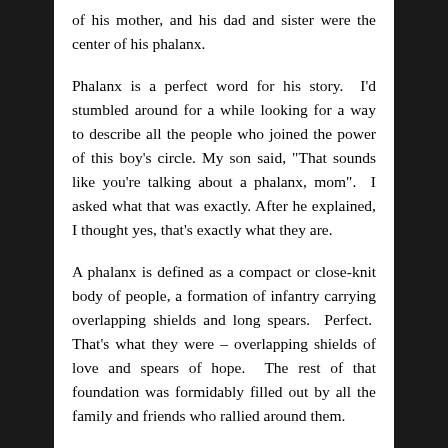of his mother, and his dad and sister were the center of his phalanx.
Phalanx is a perfect word for his story. I'd stumbled around for a while looking for a way to describe all the people who joined the power of this boy's circle. My son said, "That sounds like you're talking about a phalanx, mom". I asked what that was exactly. After he explained, I thought yes, that's exactly what they are.
A phalanx is defined as a compact or close-knit body of people, a formation of infantry carrying overlapping shields and long spears. Perfect. That's what they were – overlapping shields of love and spears of hope. The rest of that foundation was formidably filled out by all the family and friends who rallied around them.
No matter their role as those weapons of love and hope, every one of them, including the calvary of determined medical personnel was there in common spirit. All together they were something that could